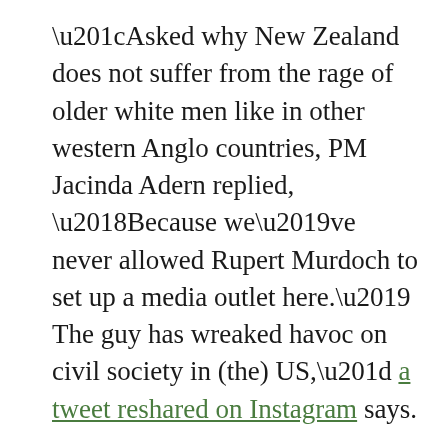“Asked why New Zealand does not suffer from the rage of older white men like in other western Anglo countries, PM Jacinda Adern replied, ‘Because we’ve never allowed Rupert Murdoch to set up a media outlet here.’ The guy has wreaked havoc on civil society in (the) US,” a tweet reshared on Instagram says.
The post was flagged as part of Facebook’s efforts to combat false news and misinformation on its News Feed. (Read more about